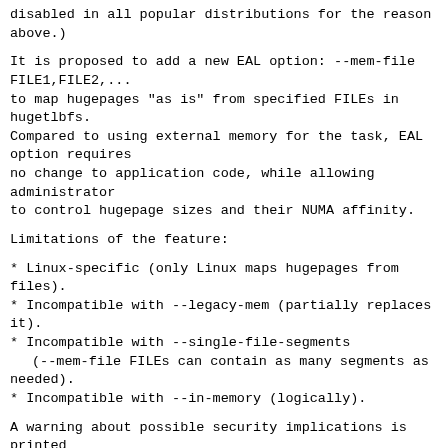disabled in all popular distributions for the reason above.)
It is proposed to add a new EAL option: --mem-file FILE1,FILE2,...
to map hugepages "as is" from specified FILEs in hugetlbfs.
Compared to using external memory for the task, EAL option requires
no change to application code, while allowing administrator
to control hugepage sizes and their NUMA affinity.
Limitations of the feature:
* Linux-specific (only Linux maps hugepages from files).
* Incompatible with --legacy-mem (partially replaces it).
* Incompatible with --single-file-segments
  (--mem-file FILEs can contain as many segments as needed).
* Incompatible with --in-memory (logically).
A warning about possible security implications is printed
when --mem-file is used.
Until this patch DPDK allocator always cleared memory on freeing,
so that it did not have to do that on allocation, while